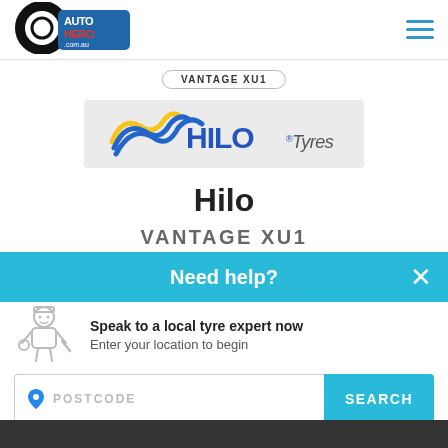[Figure (logo): Auto Hero .com.au logo with tyre graphic]
[Figure (logo): Hilo Tyres brand logo on grey background]
VANTAGE XU1
Hilo
VANTAGE XU1
Need help?
Speak to a local tyre expert now
Enter your location to begin
POSTCODE
SEARCH